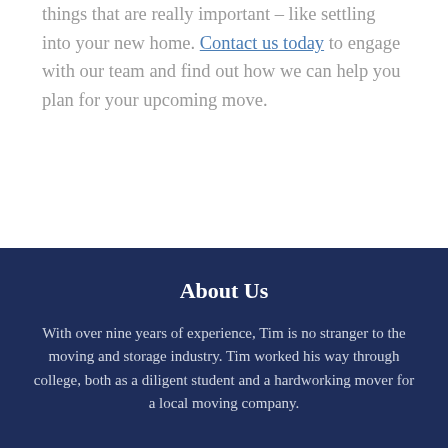things that are really important – like settling into your new home. Contact us today to engage with our team and find out how we can help you plan for your upcoming move.
About Us
With over nine years of experience, Tim is no stranger to the moving and storage industry. Tim worked his way through college, both as a diligent student and a hardworking mover for a local moving company.